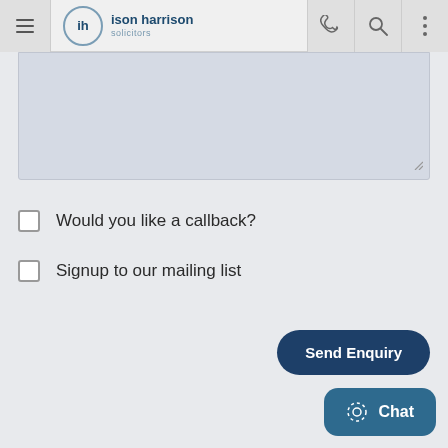[Figure (screenshot): Website navigation bar for Ison Harrison Solicitors with hamburger menu, logo, phone, search, and more icons]
[Figure (screenshot): Partially visible text area input field with resize handle in bottom-right corner]
Would you like a callback?
Signup to our mailing list
Send Enquiry
Chat